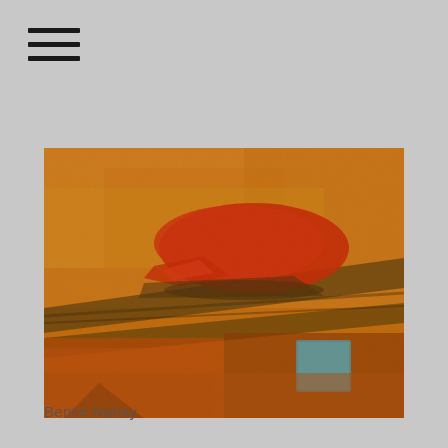[Figure (other): Hamburger menu icon — three horizontal black lines]
[Figure (illustration): Abstract painting dominated by warm orange and amber tones. Features a large red-orange cloud-like shape in the upper-center, dark brownish horizontal bands suggesting a landscape, and a small teal/blue rectangle in the lower-right area. The lower portion has overlapping reddish and darker orange rectangular shapes.]
Bence Nanay